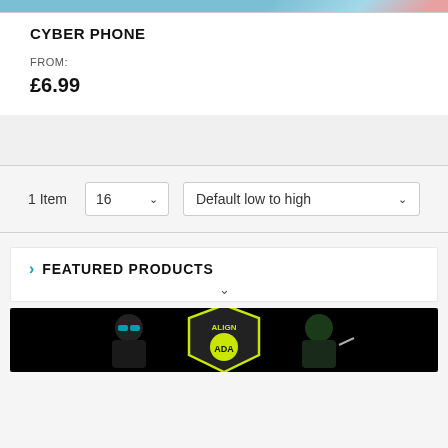[Figure (photo): Top portion of a product image, partially cropped, showing cyan/blue background with a red round object]
CYBER PHONE
FROM:
£6.99
1 Item
16
Default low to high
FEATURED PRODUCTS
[Figure (photo): Product image showing two cartoon-style characters on a black background with a shield/badge logo reading ALIGN ADA]